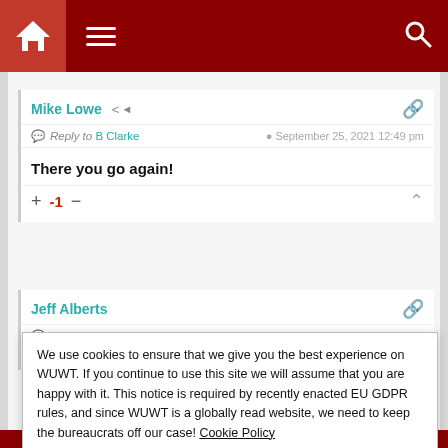[Figure (screenshot): Dark red navigation bar with home icon, hamburger menu, and search icon]
Mike Lowe
Reply to B Clarke · September 25, 2021 12:49 pm
There you go again!
+ -1 −
Jeff Alberts
Reply to Mike Lowe · September 25, 2021 12:59 pm
We use cookies to ensure that we give you the best experience on WUWT. If you continue to use this site we will assume that you are happy with it. This notice is required by recently enacted EU GDPR rules, and since WUWT is a globally read website, we need to keep the bureaucrats off our case! Cookie Policy
Close and accept